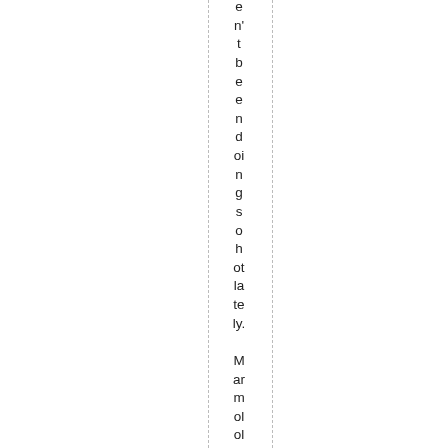en't been doing so hotly. Marmolo lost his job a